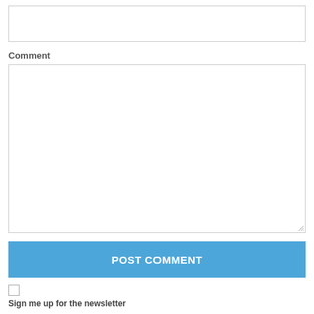[Figure (screenshot): Empty text input box at top of form]
Comment
[Figure (screenshot): Large empty textarea for comment input with resize handle]
POST COMMENT
Sign me up for the newsletter